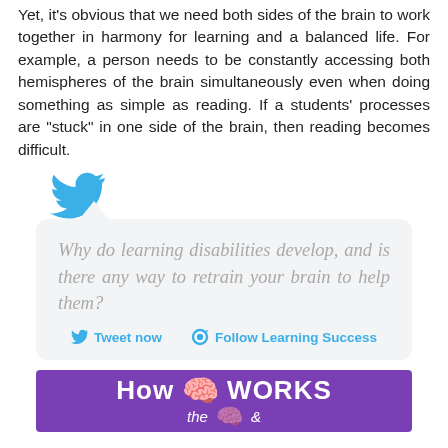Yet, it's obvious that we need both sides of the brain to work together in harmony for learning and a balanced life. For example, a person needs to be constantly accessing both hemispheres of the brain simultaneously even when doing something as simple as reading. If a students' processes are "stuck" in one side of the brain, then reading becomes difficult.
[Figure (illustration): Twitter bird logo in blue above a tweet quote box]
Why do learning disabilities develop, and is there any way to retrain your brain to help them?
Tweet now   Follow Learning Success
[Figure (infographic): Purple banner with text 'How the [brain emoji] WORKS &']